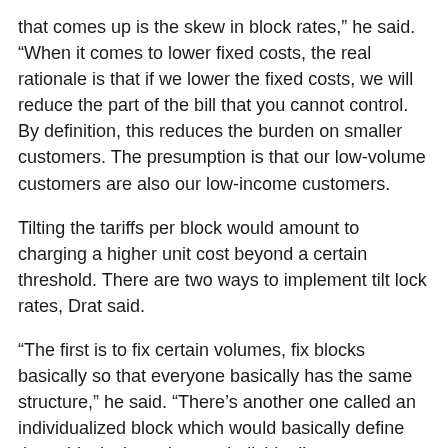that comes up is the skew in block rates,” he said. “When it comes to lower fixed costs, the real rationale is that if we lower the fixed costs, we will reduce the part of the bill that you cannot control. By definition, this reduces the burden on smaller customers. The presumption is that our low-volume customers are also our low-income customers.
Tilting the tariffs per block would amount to charging a higher unit cost beyond a certain threshold. There are two ways to implement tilt lock rates, Drat said.
“The first is to fix certain volumes, fix blocks basically so that everyone basically has the same structure,” he said. “There’s another one called an individualized block which would basically define these blocks based on an individual’s usage characteristics.”
He went on to say that these escalating block rates might be appropriate for the city because they would recognize the higher level of services provided by some customers, the higher, would be...